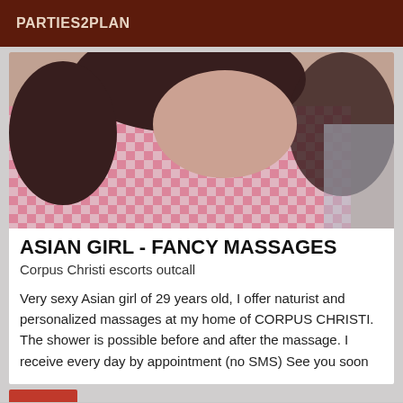PARTIES2PLAN
[Figure (photo): Photo of a young Asian woman wearing a pink and white gingham/checkered outfit, face obscured, lying down]
ASIAN GIRL - FANCY MASSAGES
Corpus Christi escorts outcall
Very sexy Asian girl of 29 years old, I offer naturist and personalized massages at my home of CORPUS CHRISTI. The shower is possible before and after the massage. I receive every day by appointment (no SMS) See you soon